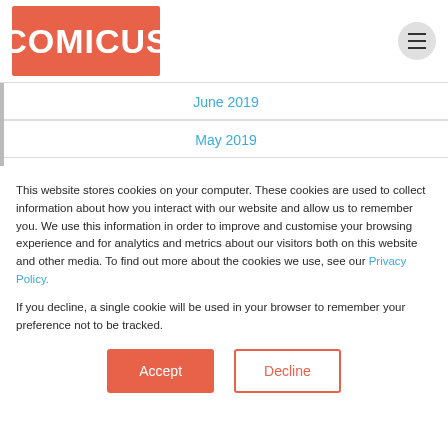[Figure (logo): COMICUS logo — white bold text on a coral/orange-red rectangle]
June 2019
May 2019
This website stores cookies on your computer. These cookies are used to collect information about how you interact with our website and allow us to remember you. We use this information in order to improve and customise your browsing experience and for analytics and metrics about our visitors both on this website and other media. To find out more about the cookies we use, see our Privacy Policy.
If you decline, a single cookie will be used in your browser to remember your preference not to be tracked.